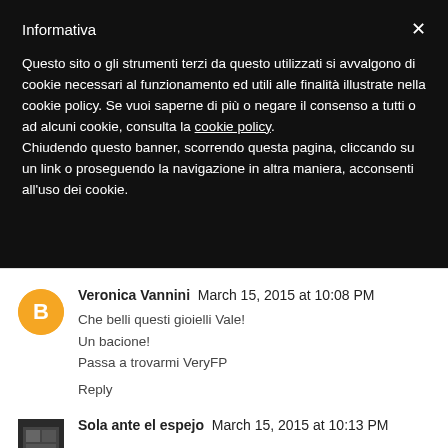Informativa
Questo sito o gli strumenti terzi da questo utilizzati si avvalgono di cookie necessari al funzionamento ed utili alle finalità illustrate nella cookie policy. Se vuoi saperne di più o negare il consenso a tutti o ad alcuni cookie, consulta la cookie policy.
Chiudendo questo banner, scorrendo questa pagina, cliccando su un link o proseguendo la navigazione in altra maniera, acconsenti all'uso dei cookie.
Veronica Vannini  March 15, 2015 at 10:08 PM
Che belli questi gioielli Vale!
Un bacione!
Passa a trovarmi VeryFP

Reply
Sola ante el espejo  March 15, 2015 at 10:13 PM